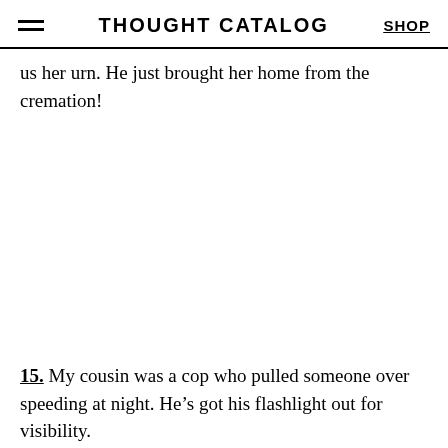THOUGHT CATALOG | SHOP
us her urn. He just brought her home from the cremation!
15. My cousin was a cop who pulled someone over speeding at night. He’s got his flashlight out for visibility. Starts the standard traffic stop routine. Guy isn’t cooperating at all, not being an asshole, just not